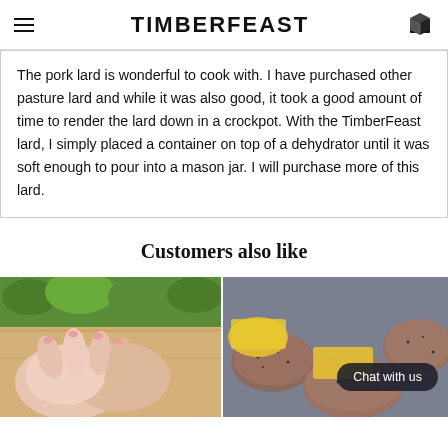TIMBERFEAST
The pork lard is wonderful to cook with.  I have purchased other pasture lard and while it was also good, it took a good amount of time to render the lard down in a crockpot.  With the TimberFeast lard, I simply placed a container on top of a dehydrator until it was soft enough to pour into a mason jar.  I will purchase more of this lard.
Customers also like
[Figure (photo): Close-up photo of raw pork hands/trotters on a cutting board with green herbs in background]
[Figure (photo): Sliced meat patties with yellow cheese on a gray surface, with a dark Chat with us button overlay]